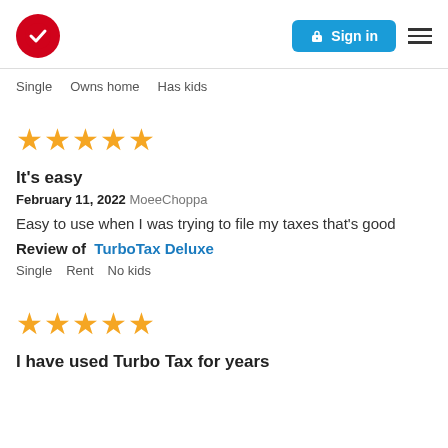TurboTax logo | Sign in | Menu
Single   Owns home   Has kids
[Figure (other): 5 yellow stars rating]
It's easy
February 11, 2022 MoeeChoppa
Easy to use when I was trying to file my taxes that's good
Review of   TurboTax Deluxe
Single   Rent   No kids
[Figure (other): 5 yellow stars rating]
I have used Turbo Tax for years